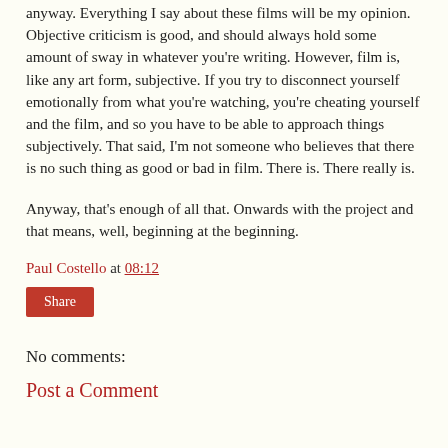anyway. Everything I say about these films will be my opinion. Objective criticism is good, and should always hold some amount of sway in whatever you're writing. However, film is, like any art form, subjective. If you try to disconnect yourself emotionally from what you're watching, you're cheating yourself and the film, and so you have to be able to approach things subjectively. That said, I'm not someone who believes that there is no such thing as good or bad in film. There is. There really is.
Anyway, that's enough of all that. Onwards with the project and that means, well, beginning at the beginning.
Paul Costello at 08:12
Share
No comments:
Post a Comment